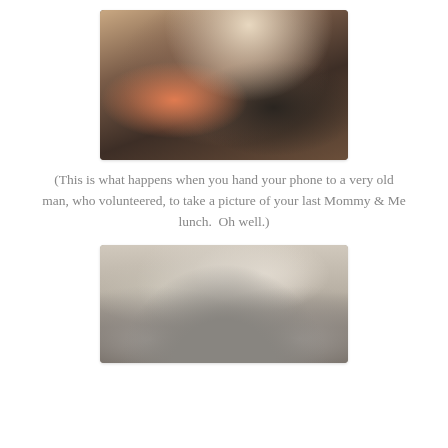[Figure (photo): A blurry photo taken by an elderly man of a group of women and babies at a long restaurant table, taken at an angle showing mostly the side of the table with strollers visible.]
(This is what happens when you hand your phone to a very old man, who volunteered, to take a picture of your last Mommy & Me lunch.  Oh well.)
[Figure (photo): A photo accidentally taken by an old man showing his own knees/lap with grey sweatpants, and a white dresser with drawer pulls visible in the background, along with another dresser or shelving unit on the left.]